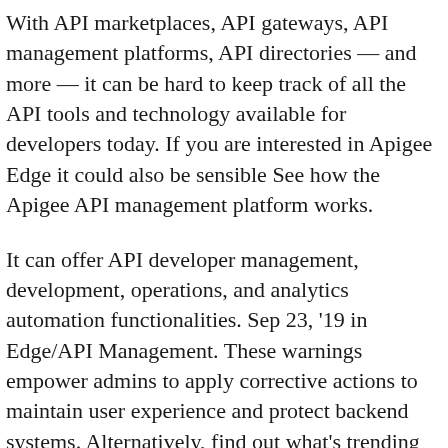With API marketplaces, API gateways, API management platforms, API directories — and more — it can be hard to keep track of all the API tools and technology available for developers today. If you are interested in Apigee Edge it could also be sensible See how the Apigee API management platform works.
It can offer API developer management, development, operations, and analytics automation functionalities. Sep 23, '19 in Edge/API Management. These warnings empower admins to apply corrective actions to maintain user experience and protect backend systems. Alternatively, find out what's trending across all of Reddit on r/popular. Advance your digital strategy. Try out the powerful features in your own sandbox. Professional Services Automation Software—